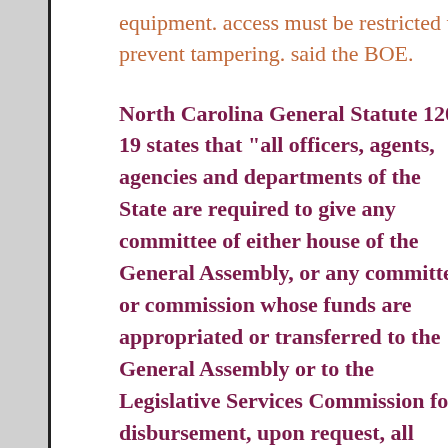equipment. access must be restricted to prevent tampering. said the BOE.
North Carolina General Statute 120-19 states that “all officers, agents, agencies and departments of the State are required to give any committee of either house of the General Assembly, or any committee or commission whose funds are appropriated or transferred to the General Assembly or to the Legislative Services Commission for disbursement, upon request, all information and all data within their